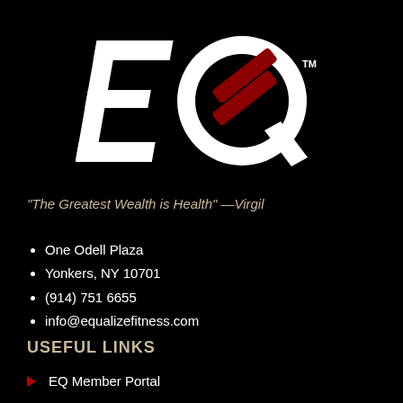[Figure (logo): EQ Equalize Fitness logo — white stylized italic 'EQ' letters with two red diagonal bars crossing the Q, and a TM superscript, on a black background]
“The Greatest Wealth is Health” —Virgil
One Odell Plaza
Yonkers, NY 10701
(914) 751 6655
info@equalizefitness.com
USEFUL LINKS
EQ Member Portal